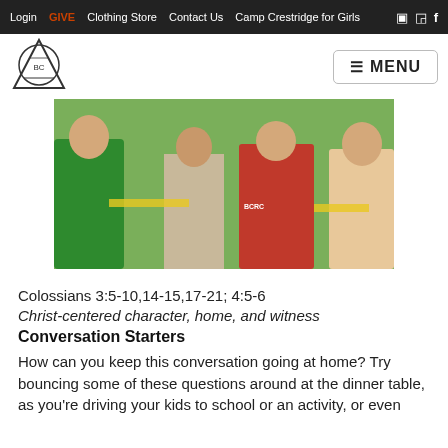Login | GIVE | Clothing Store | Contact Us | Camp Crestridge for Girls
[Figure (photo): Group of boys huddled together outdoors on a grassy field, including one in a green shirt and one in a red shirt with text on the back; appears to be a camp activity scene.]
Colossians 3:5-10,14-15,17-21; 4:5-6
Christ-centered character, home, and witness
Conversation Starters
How can you keep this conversation going at home? Try bouncing some of these questions around at the dinner table, as you're driving your kids to school or an activity, or even